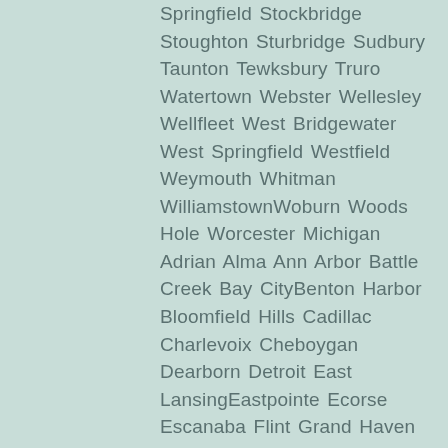Springfield Stockbridge Stoughton Sturbridge Sudbury Taunton Tewksbury Truro Watertown Webster Wellesley Wellfleet West Bridgewater West Springfield Westfield Weymouth Whitman WilliamstownWoburn Woods Hole Worcester Michigan Adrian Alma Ann Arbor Battle Creek Bay CityBenton Harbor Bloomfield Hills Cadillac Charlevoix Cheboygan Dearborn Detroit East LansingEastpointe Ecorse Escanaba Flint Grand Haven Grand Rapids Grayling Grosse Pointe Hancock Highland Park Holland Houghton Interlochen Iron Mountain Ironwood Ishpeming JacksonKalamazoo Lansing Livonia Ludington Mackinaw City Manistee Marquette Menominee MidlandMonroe Mount Clemens Mount Pleasant Muskegon Niles Petoskey Pontiac Port Huron Royal Oak Saginaw Saint Ignace Saint Joseph Sault Sainte Marie Traverse City Trenton Warren Wyandotte Ypsilanti Minnesota